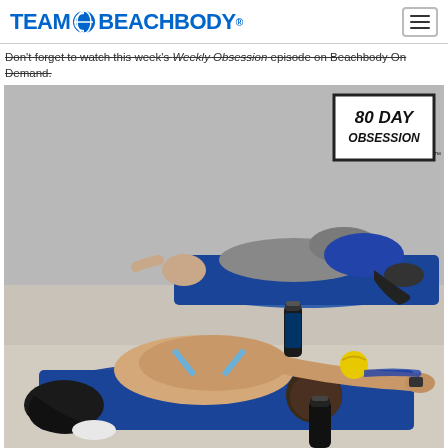TEAM BEACHBODY
Don't forget to watch this week's Weekly Obsession episode on Beachbody On Demand.
[Figure (photo): Two people doing child's pose stretch on blue yoga mats on the floor. In the foreground, a woman wearing a light blue sports bra and black leggings stretches with head down and arms extended. In the background, another person in a gray shirt and blue shorts does the same. Exercise equipment including a yellow ball, resistance bands, and water bottles are visible. An '80 DAY OBSESSION' logo badge is in the upper right corner of the photo.]